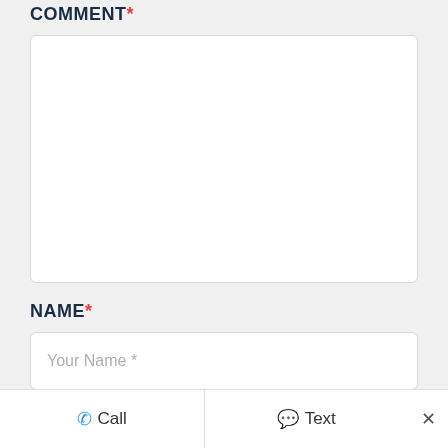COMMENT *
[Figure (other): Comment textarea input field (empty white box)]
NAME *
[Figure (other): Name input field with placeholder text 'Your Name *']
EMAIL *
Call  Text  ×